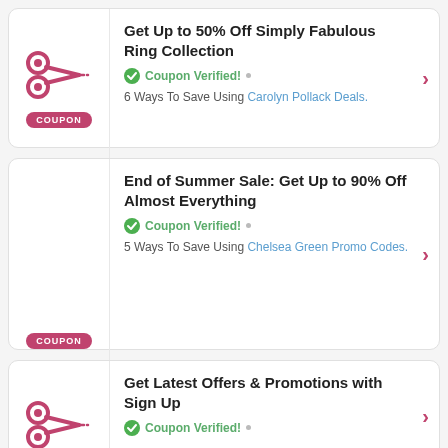[Figure (other): Coupon card 1: scissors icon with COUPON badge, title Get Up to 50% Off Simply Fabulous Ring Collection, Coupon Verified!, 6 Ways To Save Using Carolyn Pollack Deals.]
[Figure (other): Coupon card 2: scissors icon with COUPON badge, title End of Summer Sale: Get Up to 90% Off Almost Everything, Coupon Verified!, 5 Ways To Save Using Chelsea Green Promo Codes.]
[Figure (other): Coupon card 3: scissors icon, title Get Latest Offers & Promotions with Sign Up, Coupon Verified!]